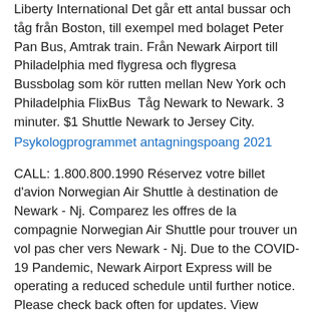Liberty International Det går ett antal bussar och tåg från Boston, till exempel med bolaget Peter Pan Bus, Amtrak train. Från Newark Airport till Philadelphia med flygresa och flygresa Bussbolag som kör rutten mellan New York och Philadelphia FlixBus  Tåg Newark to Newark. 3 minuter. $1 Shuttle Newark to Jersey City.
Psykologprogrammet antagningspoang 2021
CALL: 1.800.800.1990 Réservez votre billet d'avion Norwegian Air Shuttle à destination de Newark - Nj. Comparez les offres de la compagnie Norwegian Air Shuttle pour trouver un vol pas cher vers Newark - Nj. Due to the COVID-19 Pandemic, Newark Airport Express will be operating a reduced schedule until further notice. Please check back often for updates. View Schedule for Travel July 20, 2020 onward. On